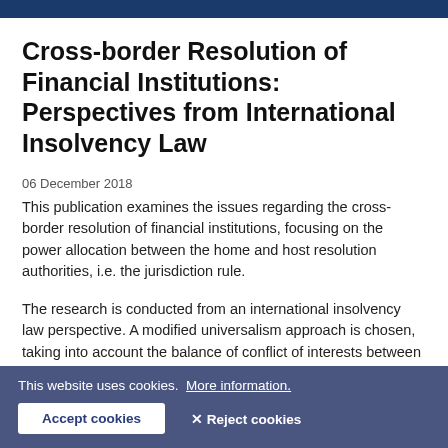Cross-border Resolution of Financial Institutions: Perspectives from International Insolvency Law
06 December 2018
This publication examines the issues regarding the cross-border resolution of financial institutions, focusing on the power allocation between the home and host resolution authorities, i.e. the jurisdiction rule.
The research is conducted from an international insolvency law perspective. A modified universalism approach is chosen, taking into account the balance of conflict of interests between effective resolution and protection of local interests.
This website uses cookies.  More information.
Accept cookies   ✕ Reject cookies